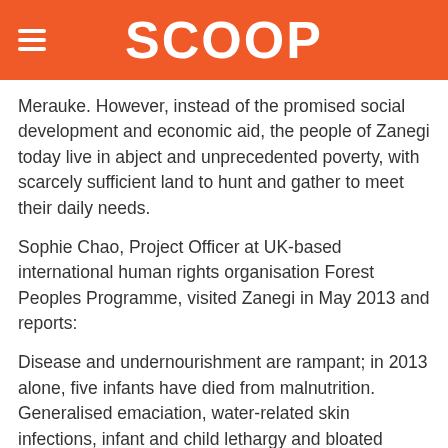SCOOP
Merauke. However, instead of the promised social development and economic aid, the people of Zanegi today live in abject and unprecedented poverty, with scarcely sufficient land to hunt and gather to meet their daily needs.
Sophie Chao, Project Officer at UK-based international human rights organisation Forest Peoples Programme, visited Zanegi in May 2013 and reports:
Disease and undernourishment are rampant; in 2013 alone, five infants have died from malnutrition. Generalised emaciation, water-related skin infections, infant and child lethargy and bloated stomachs are all flagrant evidence of the severe food insecurity faced by the community as a result of the loss of their customary lands and livelihoods to incoming investors.